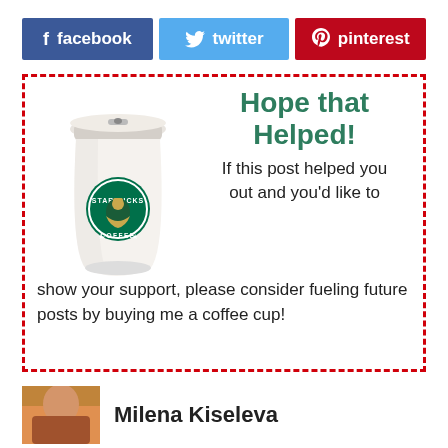[Figure (infographic): Social sharing buttons for Facebook (dark blue), Twitter (light blue), and Pinterest (red)]
[Figure (infographic): Dashed red border box with a Starbucks coffee cup illustration on the left and text 'Hope that Helped! If this post helped you out and you'd like to show your support, please consider fueling future posts by buying me a coffee cup!']
Milena Kiseleva